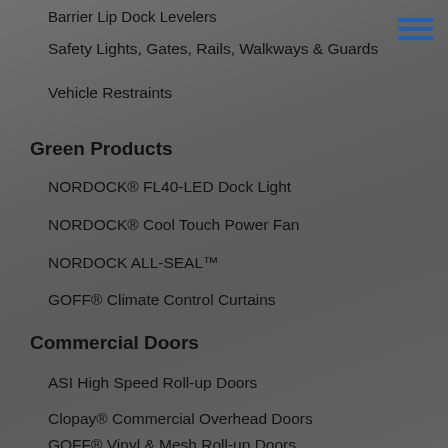Barrier Lip Dock Levelers
Safety Lights, Gates, Rails, Walkways & Guards
Vehicle Restraints
Green Products
NORDOCK® FL40-LED Dock Light
NORDOCK® Cool Touch Power Fan
NORDOCK ALL-SEAL™
GOFF® Climate Control Curtains
Commercial Doors
ASI High Speed Roll-up Doors
Clopay® Commercial Overhead Doors
GOFF® Vinyl & Mesh Roll-up Doors